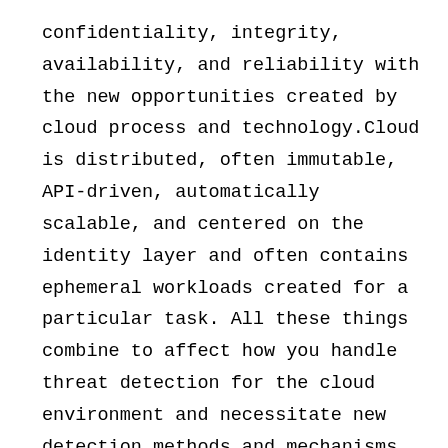confidentiality, integrity, availability, and reliability with the new opportunities created by cloud process and technology.Cloud is distributed, often immutable, API-driven, automatically scalable, and centered on the identity layer and often contains ephemeral workloads created for a particular task. All these things combine to affect how you handle threat detection for the cloud environment and necessitate new detection methods and mechanisms. There are six key domains where threats in the cloud can be best detected: identify, API, managed services, network, compute, and Kubernetes. These provide the